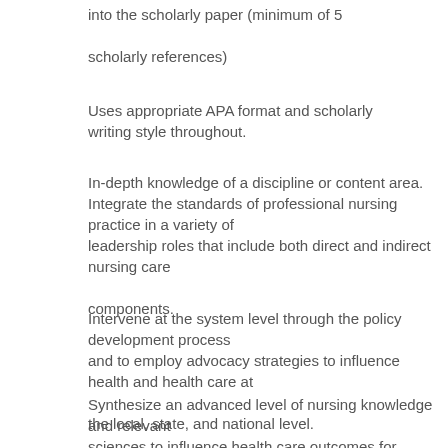into the scholarly paper (minimum of 5
scholarly references)
Uses appropriate APA format and scholarly writing style throughout.
In-depth knowledge of a discipline or content area. Integrate the standards of professional nursing practice in a variety of leadership roles that include both direct and indirect nursing care components.
Intervene at the system level through the policy development process and to employ advocacy strategies to influence health and health care at the local, state, and national level.
Synthesize an advanced level of nursing knowledge and relevant sciences to influence health care outcomes for individuals, populations,